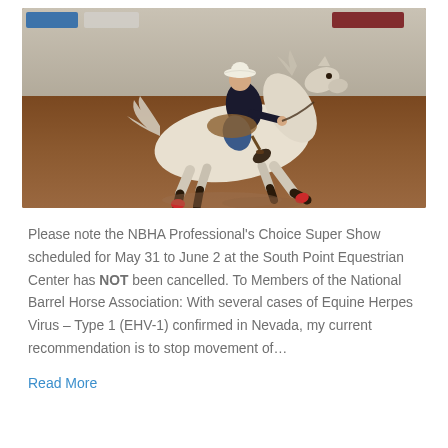[Figure (photo): A barrel racer wearing a white cowboy hat, black long-sleeve shirt, and jeans rides a white horse with red and black leg wraps at a gallop inside an indoor equestrian arena with dirt floor and sponsor banners on the wall.]
Please note the NBHA Professional's Choice Super Show scheduled for May 31 to June 2 at the South Point Equestrian Center has NOT been cancelled. To Members of the National Barrel Horse Association: With several cases of Equine Herpes Virus – Type 1 (EHV-1) confirmed in Nevada, my current recommendation is to stop movement of…
Read More